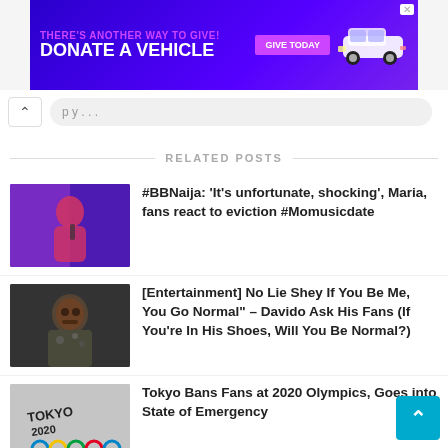[Figure (screenshot): Advertisement banner: purple background, 'THERE'S ANOTHER WAY TO GIVE! DONATE A VEHICLE' text with 'GIVE TODAY' button and car image]
[Figure (screenshot): Browser navigation bar with back arrow and URL bar]
RELATED POSTS
[Figure (photo): Woman in red dress on stage with microphone - BBNaija]
#BBNaija: 'It's unfortunate, shocking', Maria, fans react to eviction #Momusicdate
[Figure (photo): Man in patterned shirt - Davido]
[Entertainment] No Lie Shey If You Be Me, You Go Normal" – Davido Ask His Fans (If You're In His Shoes, Will You Be Normal?)
[Figure (photo): Tokyo 2020 Olympics rings and logo on grey background]
Tokyo Bans Fans at 2020 Olympics, Goes into State of Emergency
[Figure (photo): Singer with dreadlocks - Fireboy DML]
YBNL Singer Fireboy DML Pens An Appreciation Message To His Fans After A Big Win At The